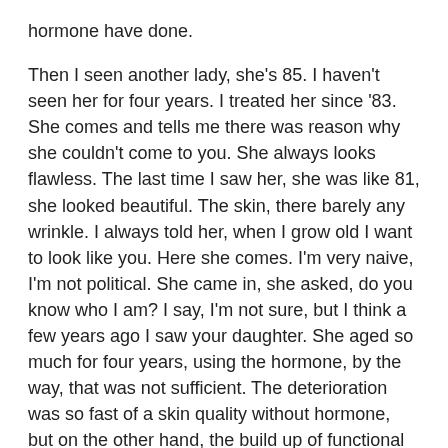hormone have done.
Then I seen another lady, she's 85. I haven't seen her for four years. I treated her since '83. She comes and tells me there was reason why she couldn't come to you. She always looks flawless. The last time I saw her, she was like 81, she looked beautiful. The skin, there barely any wrinkle. I always told her, when I grow old I want to look like you. Here she comes. I'm very naive, I'm not political. She came in, she asked, do you know who I am? I say, I'm not sure, but I think a few years ago I saw your daughter. She aged so much for four years, using the hormone, by the way, that was not sufficient. The deterioration was so fast of a skin quality without hormone, but on the other hand, the build up of functional skin that is full. Full of rigor, with redness, with a lot of elastin and collagen, and buildup of the muscle under three. This is what estrogen will give to you.
I see, it is what to tell, all these have a bet...